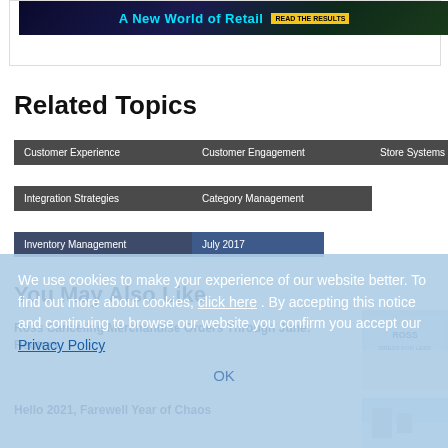[Figure (screenshot): Banner advertisement: A New World of Retail with READ THE RESULTS button]
Related Topics
Customer Experience
Customer Engagement
Store Systems
Integration Strategies
Category Management
Inventory Management
July 2017
You May Also Like
We use cookies to make your experience of our website better. To find out more about cookies, click here . By accepting this notice and continuing to browse our website you confirm you accept our Privacy Policy
OK
Ross Canceling Merchandise Orders Through June: Reuters
Hello 2021, Farewell Year of Chaos